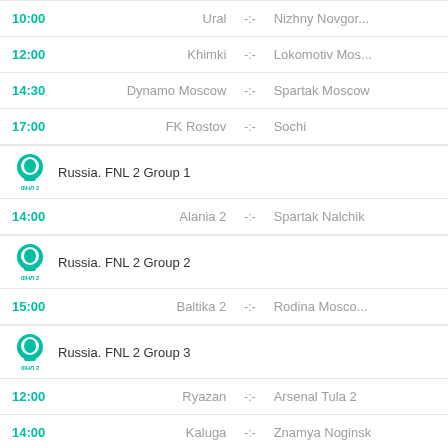10:00  Ural -:- Nizhny Novgor...
12:00  Khimki -:- Lokomotiv Mos...
14:30  Dynamo Moscow -:- Spartak Moscow
17:00  FK Rostov -:- Sochi
Russia. FNL 2 Group 1
14:00  Alania 2 -:- Spartak Nalchik
Russia. FNL 2 Group 2
15:00  Baltika 2 -:- Rodina Mosco...
Russia. FNL 2 Group 3
12:00  Ryazan -:- Arsenal Tula 2
14:00  Kaluga -:- Znamya Noginsk
Romania. Liga 1